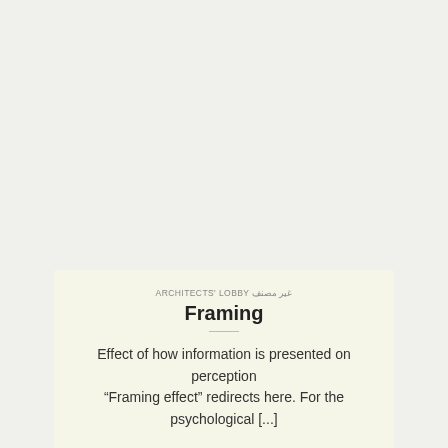ARCHITECTS' LOBBY غير مصنف
Framing
Effect of how information is presented on perception
“Framing effect” redirects here. For the psychological [...]